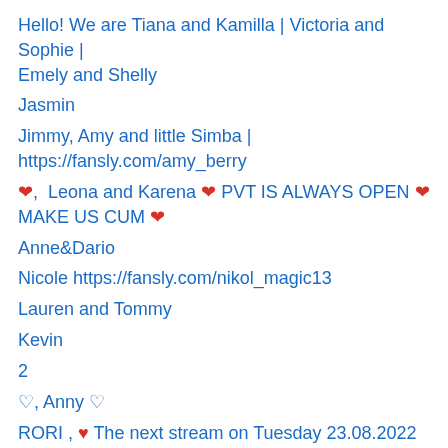Hello! We are Tiana and Kamilla | Victoria and Sophie | Emely and Shelly
Jasmin
Jimmy, Amy and little Simba | https://fansly.com/amy_berry
❤,  Leona and Karena ❤ PVT IS ALWAYS OPEN ❤ MAKE US CUM ❤
Anne&Dario
Nicole https://fansly.com/nikol_magic13
Lauren and Tommy
Kevin
2
♡, Anny ♡
RORI , ♥ The next stream on Tuesday 23.08.2022 from 9 pm to 10 am (GMT-4 or time in New York)